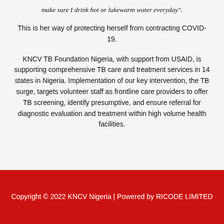make sure I drink hot or lukewarm water everyday".
This is her way of protecting herself from contracting COVID-19.
KNCV TB Foundation Nigeria, with support from USAID, is supporting comprehensive TB care and treatment services in 14 states in Nigeria. Implementation of our key intervention, the TB surge, targets volunteer staff as frontline care providers to offer TB screening, identify presumptive, and ensure referral for diagnostic evaluation and treatment within high volume health facilities.
Copyright © 2022 KNCV Nigeria | Powered by RICODE LIMITED